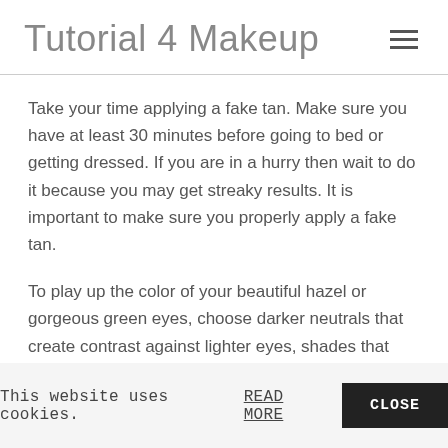Tutorial 4 Makeup
Take your time applying a fake tan. Make sure you have at least 30 minutes before going to bed or getting dressed. If you are in a hurry then wait to do it because you may get streaky results. It is important to make sure you properly apply a fake tan.
To play up the color of your beautiful hazel or gorgeous green eyes, choose darker neutrals that create contrast against lighter eyes, shades that have a red base to bring out the green, or other complementary shades. The most enhancing colors for hazel and green eyes are silvery and shimmery shadows in all hues of purple, silver, and light browns.
Baking soda can be used to make your hair shiny. Mix a little
This website uses cookies. READ MORE CLOSE